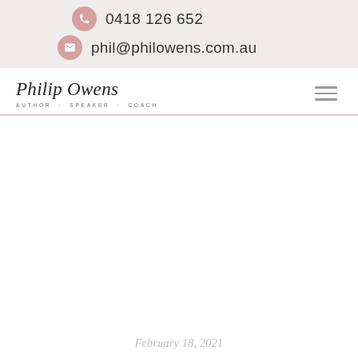0418 126 652
phil@philowens.com.au
[Figure (logo): Philip Owens logo with cursive script name and tagline AUTHOR · SPEAKER · COACH]
February 18, 2021